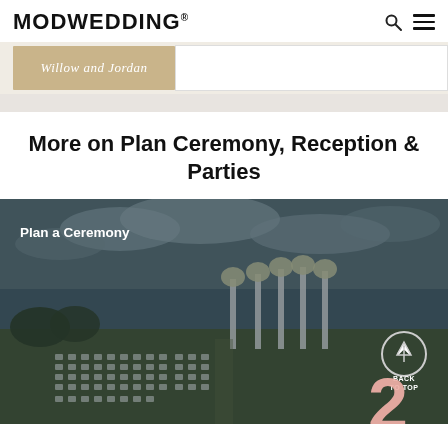MODWEDDING®
[Figure (photo): Top image strip showing a kraft/tan colored card with script text 'Willow and Jordan' on a light beige background with a white box to the right]
More on Plan Ceremony, Reception & Parties
[Figure (photo): Outdoor wedding ceremony setup at dusk with rows of white chairs on a green lawn, tall floral arrangements on columns, cloudy sky in background. Text overlay: 'Plan a Ceremony'. Back to top button with upward arrow. Large pink number 2 in bottom right corner.]